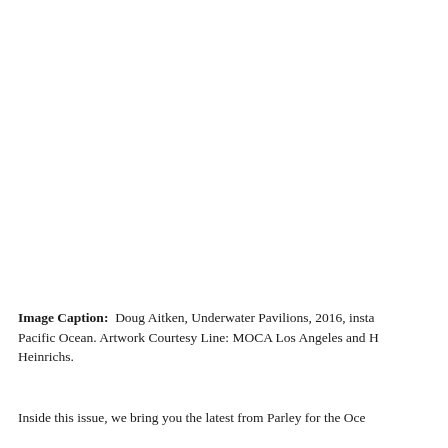[Figure (photo): Large photograph area, mostly white/blank in this crop — appears to be an image of Doug Aitken's Underwater Pavilions installation, 2016, in the Pacific Ocean.]
Image Caption:  Doug Aitken, Underwater Pavilions, 2016, insta Pacific Ocean. Artwork Courtesy Line: MOCA Los Angeles and H Heinrichs.
Inside this issue, we bring you the latest from Parley for the Oce